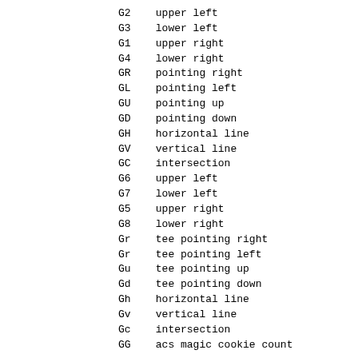G2    upper left
G3    lower left
G1    upper right
G4    lower right
GR    pointing right
GL    pointing left
GU    pointing up
GD    pointing down
GH    horizontal line
GV    vertical line
GC    intersection
G6    upper left
G7    lower left
G5    upper right
G8    lower right
Gr    tee pointing right
Gr    tee pointing left
Gu    tee pointing up
Gd    tee pointing down
Gh    horizontal line
Gv    vertical line
Gc    intersection
GG    acs magic cookie count
If the single-line capabilities occur in  an  entr
will  automatically  be composed into an acsc stri
double-line capabilities and GG are discarded with
ing message.
IBM's AIX has a terminfo facility descended from S